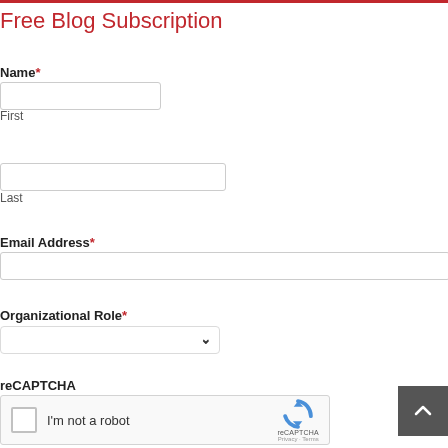Free Blog Subscription
Name*
First
Last
Email Address*
Organizational Role*
reCAPTCHA
[Figure (other): reCAPTCHA widget with checkbox labeled 'I'm not a robot' and reCAPTCHA logo]
[Figure (other): Scroll-to-top button with upward arrow, dark gray background]